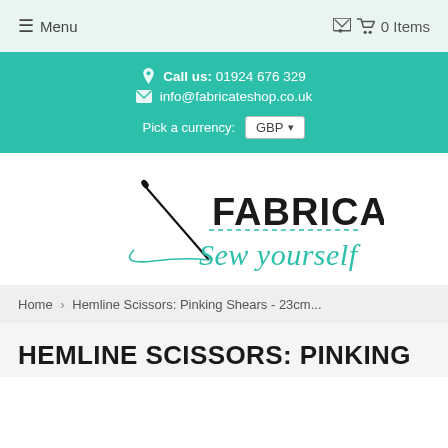☰ Menu    🛒 0 Items
Call us: 01924 676 329
info@fabricateshop.co.uk
Pick a currency: GBP
[Figure (logo): Fabricate Sew yourself logo — needle and thread illustration with bold FABRICATE text and teal cursive 'Sew yourself' tagline]
Home › Hemline Scissors: Pinking Shears - 23cm...
HEMLINE SCISSORS: PINKING